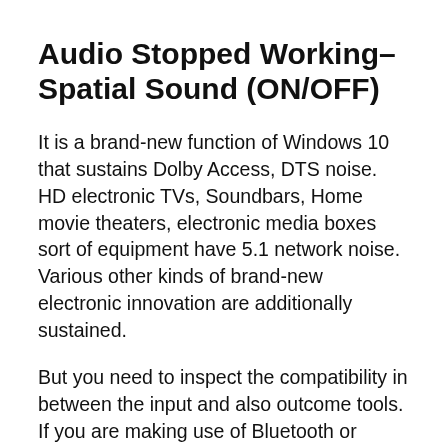Audio Stopped Working– Spatial Sound (ON/OFF)
It is a brand-new function of Windows 10 that sustains Dolby Access, DTS noise. HD electronic TVs, Soundbars, Home movie theaters, electronic media boxes sort of equipment have 5.1 network noise. Various other kinds of brand-new electronic innovation are additionally sustained.
But you need to inspect the compatibility in between the input and also outcome tools. If you are making use of Bluetooth or cordless modern technology, the signal might not pass correctly. If utilizing an HDMI cord, make certain it is effectively jacked in.